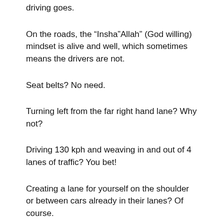driving goes.
On the roads, the “Insha”Allah” (God willing) mindset is alive and well, which sometimes means the drivers are not.
Seat belts? No need.
Turning left from the far right hand lane? Why not?
Driving 130 kph and weaving in and out of 4 lanes of traffic? You bet!
Creating a lane for yourself on the shoulder or between cars already in their lanes? Of course.
Roundabouts? Don’t get me started…
Today, however, I have to admit. I crossed over to